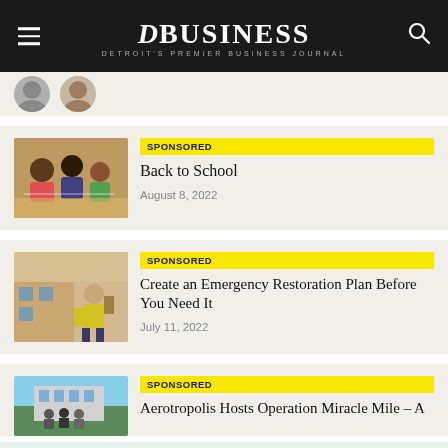DBusiness — Detroit's Premier Business Journal
[Figure (screenshot): Partial article card with two avatar profile photos (partial, cropped at top)]
[Figure (photo): Children eating at school cafeteria table]
SPONSORED
Back to School
August 8, 2022
[Figure (photo): Worker in yellow vest near damaged building exterior]
SPONSORED
Create an Emergency Restoration Plan Before You Need It
July 11, 2022
[Figure (photo): Group of people standing outside a modern building]
SPONSORED
Aerotropolis Hosts Operation Miracle Mile – A
[Figure (screenshot): Tally app advertisement banner — Fast credit card payoff, Download Now button]